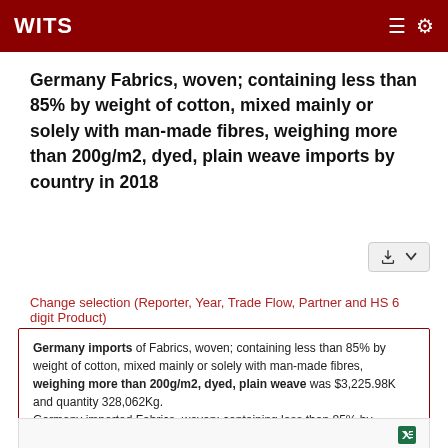WITS
Germany Fabrics, woven; containing less than 85% by weight of cotton, mixed mainly or solely with man-made fibres, weighing more than 200g/m2, dyed, plain weave imports by country in 2018
Change selection (Reporter, Year, Trade Flow, Partner and HS 6 digit Product)
Germany imports of Fabrics, woven; containing less than 85% by weight of cotton, mixed mainly or solely with man-made fibres, weighing more than 200g/m2, dyed, plain weave was $3,225.98K and quantity 328,062Kg. Germany imported Fabrics, woven; containing less than 85% by
| Reporter | TradeFlowProductCode | Product Description | Year | Pa |
| --- | --- | --- | --- | --- |